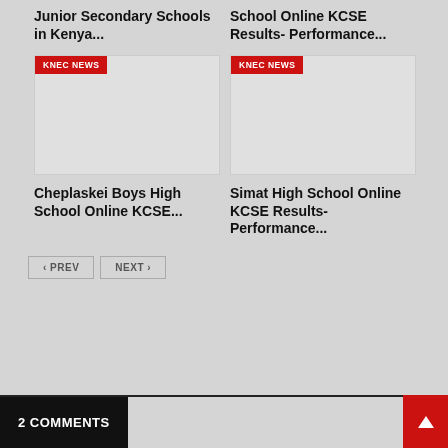Junior Secondary Schools in Kenya...
School Online KCSE Results- Performance...
[Figure (photo): Card image with KNEC NEWS badge - left card top]
[Figure (photo): Card image with KNEC NEWS badge - right card top]
Cheplaskei Boys High School Online KCSE...
Simat High School Online KCSE Results- Performance...
PREV NEXT
2 COMMENTS